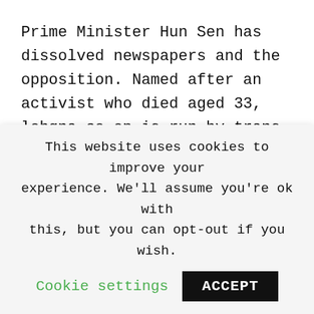Prime Minister Hun Sen has dissolved newspapers and the opposition. Named after an activist who died aged 33, lohqna co-op is run by trans people and provides training and employment.
New Internationalist is a lifeline for activists, campaigners and readers who value independent journalism. She speaks [partially cut off]
This website uses cookies to improve your experience. We'll assume you're ok with this, but you can opt-out if you wish.
Cookie settings   ACCEPT